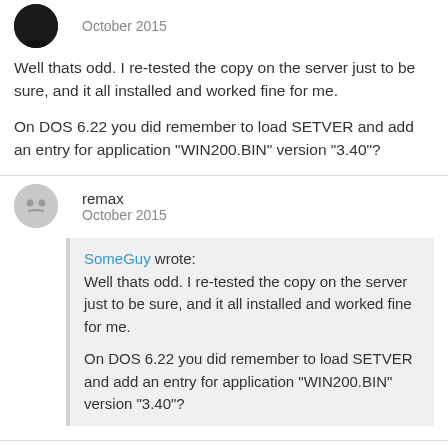October 2015
Well thats odd. I re-tested the copy on the server just to be sure, and it all installed and worked fine for me.

On DOS 6.22 you did remember to load SETVER and add an entry for application "WIN200.BIN" version "3.40"?
remax
October 2015
SomeGuy wrote:
Well thats odd. I re-tested the copy on the server just to be sure, and it all installed and worked fine for me.

On DOS 6.22 you did remember to load SETVER and add an entry for application "WIN200.BIN" version "3.40"?